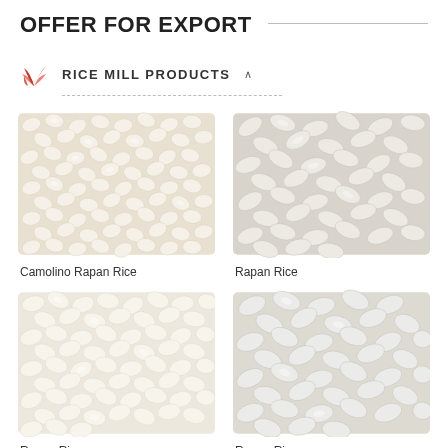OFFER FOR EXPORT
RICE MILL PRODUCTS
[Figure (photo): Close-up photograph of Camolino Rapan Rice grains, small round white rice kernels packed closely together]
Camolino Rapan Rice
[Figure (photo): Close-up photograph of Rapan Rice grains, larger elongated white rice kernels loosely scattered]
Rapan Rice
[Figure (photo): Close-up photograph of Rapan Rice grains, medium round white kernels, creamy white color]
Rapan Rice
[Figure (photo): Close-up photograph of Rapan Rice grains, medium oval white kernels with slight sheen]
Rapan Rice